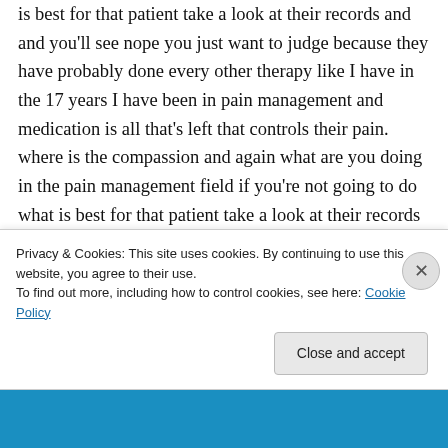is best for that patient take a look at their records and and you'll see nope you just want to judge because they have probably done every other therapy like I have in the 17 years I have been in pain management and medication is all that's left that controls their pain. where is the compassion and again what are you doing in the pain management field if you're not going to do what is best for that patient take a look at their records and and you'll see nope you just want to judge because they have probably done every other
Privacy & Cookies: This site uses cookies. By continuing to use this website, you agree to their use.
To find out more, including how to control cookies, see here: Cookie Policy
Close and accept